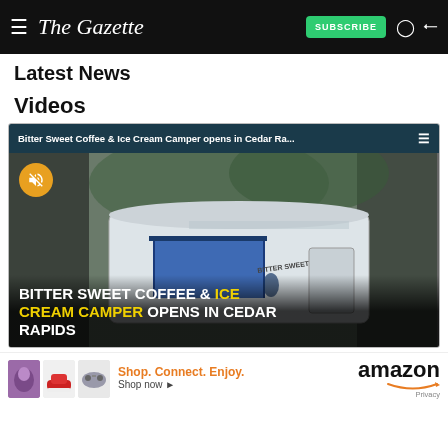The Gazette — SUBSCRIBE
Latest News
Videos
[Figure (screenshot): Video thumbnail showing a white food trailer/camper with a blue awning open, parked outdoors. A yellow mute button icon appears in the top left. The video title bar reads 'Bitter Sweet Coffee & Ice Cream Camper opens in Cedar Ra...' with a hamburger menu icon. Overlaid text at the bottom reads 'BITTER SWEET COFFEE & ICE CREAM CAMPER OPENS IN CEDAR RAPIDS' with yellow highlighting on 'ICE CREAM CAMPER'.]
[Figure (other): Amazon advertisement banner with product images (cat toy, shoe, gaming controller), text 'Shop. Connect. Enjoy. Shop now ▶' and Amazon logo with Privacy label.]